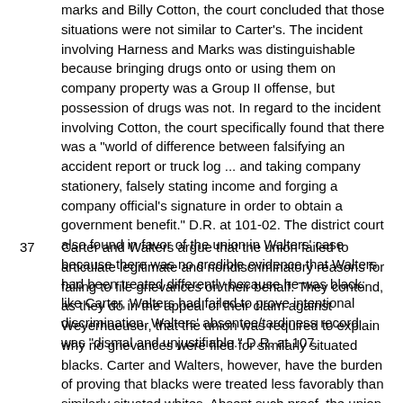marks and Billy Cotton, the court concluded that those situations were not similar to Carter's. The incident involving Harness and Marks was distinguishable because bringing drugs onto or using them on company property was a Group II offense, but possession of drugs was not. In regard to the incident involving Cotton, the court specifically found that there was a "world of difference between falsifying an accident report or truck log ... and taking company stationery, falsely stating income and forging a company official's signature in order to obtain a government benefit." D.R. at 101-02. The district court also found in favor of the union in Walters' case because there was no credible evidence that Walters had been treated differently because he was black; like Carter, Walters had failed to prove intentional discrimination. Walters' absentee/tardiness record was "dismal and unjustifiable." D.R. at 107.
37  Carter and Walters argue that the union failed to articulate legitimate and nondiscriminatory reasons for failing to file grievances on their behalf. They contend, as they do in the appeal of their claim against Weyerhaeuser, that the union was required to explain why no grievances were filed for similarly situated blacks. Carter and Walters, however, have the burden of proving that blacks were treated less favorably than similarly situated whites. Absent such proof, the union need only articulate a legitimate reason for its